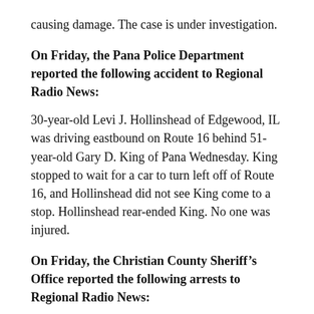causing damage. The case is under investigation.
On Friday, the Pana Police Department reported the following accident to Regional Radio News:
30-year-old Levi J. Hollinshead of Edgewood, IL was driving eastbound on Route 16 behind 51-year-old Gary D. King of Pana Wednesday. King stopped to wait for a car to turn left off of Route 16, and Hollinshead did not see King come to a stop. Hollinshead rear-ended King. No one was injured.
On Friday, the Christian County Sheriff’s Office reported the following arrests to Regional Radio News:
39-year-old Rebecca E. Bayless of Taylorville was